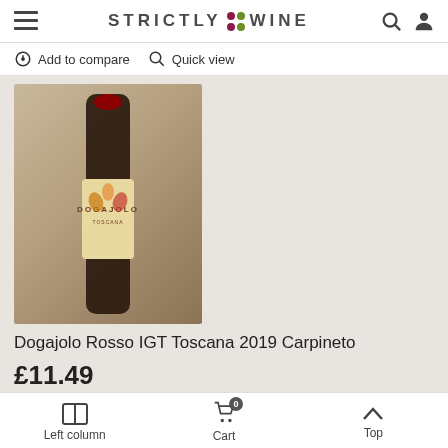STRICTLY WINE
Add to compare   Quick view
[Figure (photo): Wine bottle with Dogajolo Toscana label featuring colorful autumn leaf illustrations]
Dogajolo Rosso IGT Toscana 2019 Carpineto
£11.49
Dogajolo Rosso IGT Toscana Carpineto - the Carpineto
Left column   Cart   Top